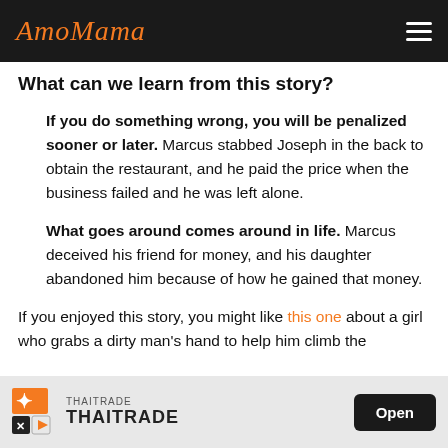AmoMama
What can we learn from this story?
If you do something wrong, you will be penalized sooner or later. Marcus stabbed Joseph in the back to obtain the restaurant, and he paid the price when the business failed and he was left alone.
What goes around comes around in life. Marcus deceived his friend for money, and his daughter abandoned him because of how he gained that money.
If you enjoyed this story, you might like this one about a girl who grabs a dirty man's hand to help him climb the